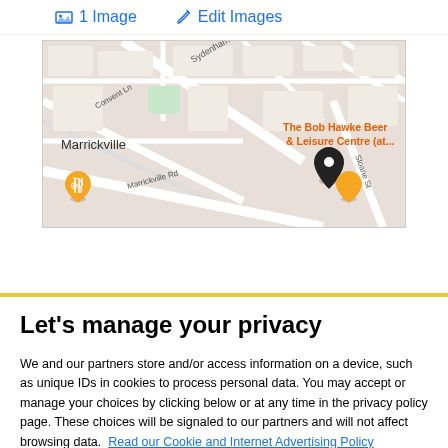1 Image   Edit Images
[Figure (map): Google Maps screenshot showing Marrickville area with a pin marking 'The Bob Hawke Beer & Leisure Centre (at...' location, with streets including Sydenham Rd, Convent Ln, Marrickville Rd, and Sloane St visible. An orange food pin marker is also visible.]
Let's manage your privacy
We and our partners store and/or access information on a device, such as unique IDs in cookies to process personal data. You may accept or manage your choices by clicking below or at any time in the privacy policy page. These choices will be signaled to our partners and will not affect browsing data.  Read our Cookie and Internet Advertising Policy